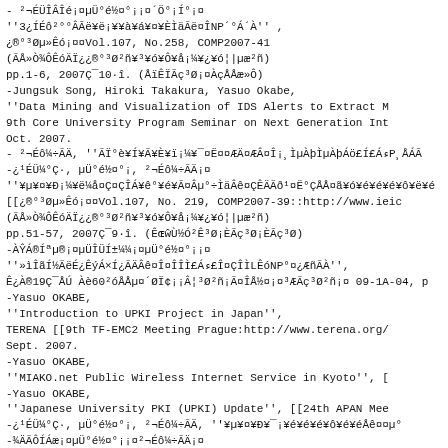Bibliography entries with mixed Japanese/encoded and Latin text, including references by Jungsuk Song, Hiroki Takakura, Yasuo Okabe and others, covering publications such as 'Data Mining and Visualization of IDS Alerts to Extract M...', '9th Core University Program Seminar on Next Generation Int...', 'Introduction to UPKI Project in Japan'', TERENA 9th TF-EMC2 Meeting Prague, 'MIAKO.net Public Wireless Internet Service in Kyoto'', 'Japanese University PKI (UPKI) Update'', '[[24th APAN Mee...', 'A Tight Upper Bound on Online Buffer Management for Two-...', and associated journal/volume information including Vol.107, No.258, COMP2007-41, pp.1-6, 2007, Vol.107, No.219, COMP2007-39, pp.51-57, 2007, Vol.107, No.127, COMP2007-26.